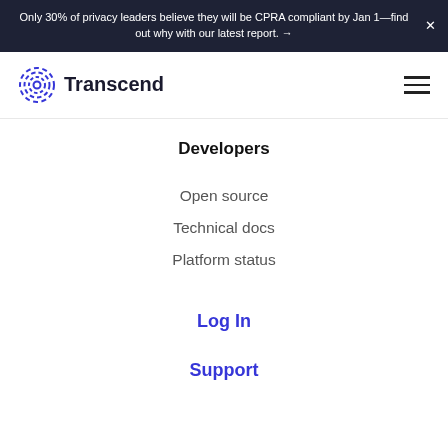Only 30% of privacy leaders believe they will be CPRA compliant by Jan 1—find out why with our latest report. →
[Figure (logo): Transcend logo with concentric circle icon in blue and text 'Transcend']
Developers
Open source
Technical docs
Platform status
Log In
Support